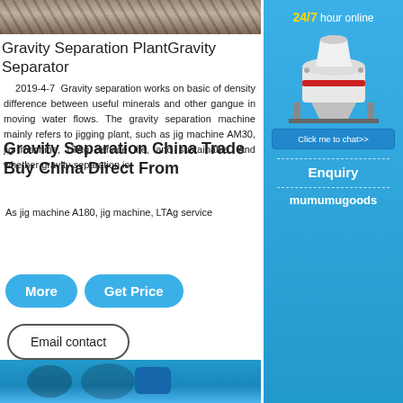[Figure (photo): Top partial photo of rocky/soil terrain, dark earthy tones]
Gravity Separation PlantGravity Separator
2019-4-7   Gravity separation works on basic of density difference between useful minerals and other gangue in moving water flows. The gravity separation machine mainly refers to jigging plant, such as jig machine AM30, jig machine, LTAg service life, and sustainable. And whether gravity separation is
Gravity Separation China Trade Buy China Direct From
As jig machine A180, jig machine, LTAg service
[Figure (illustration): Blue button: More]
[Figure (illustration): Blue button: Get Price]
[Figure (illustration): White button: Email contact]
[Figure (photo): Bottom photo showing blue industrial machinery (jaw crusher or similar)]
[Figure (screenshot): Right sidebar: 24/7 hour online service panel with machine image, Click me to chat>> button, Enquiry section, mumumugoods text on blue background]